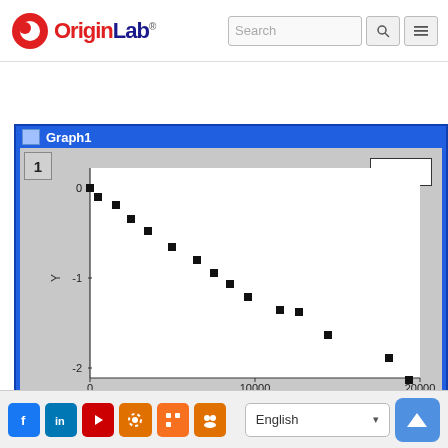[Figure (screenshot): OriginLab website navigation bar with logo, search box, and menu icon]
[Figure (scatter-plot): Graph1]
[Figure (screenshot): Social media footer bar with Facebook, LinkedIn, YouTube, settings, RSS, group icons, English language selector, and scroll-to-top button]